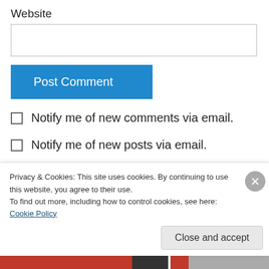Website
Post Comment
Notify me of new comments via email.
Notify me of new posts via email.
Privacy & Cookies: This site uses cookies. By continuing to use this website, you agree to their use.
To find out more, including how to control cookies, see here: Cookie Policy
Close and accept